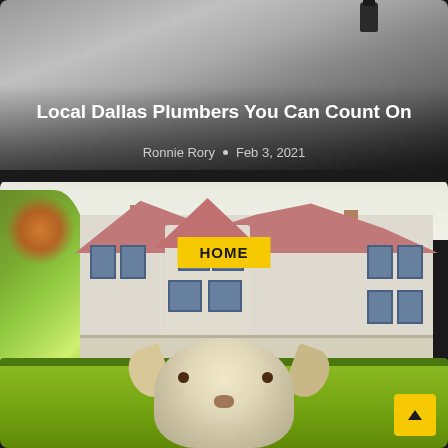[Figure (photo): Top portion of a car roof with an antenna, dark grey vehicle, partially visible]
Local Dallas Plumbers You Can Count On
Ronnie Rory • Feb 3, 2021
[Figure (photo): A Victorian-style house with pink/red roofs, chimneys, and a turret, with green trees on the left, a lawn with hedges, and a fluffy white/cream dog in the foreground looking at the camera]
HOME